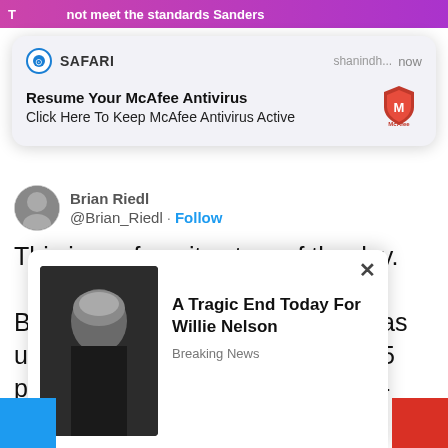not meet the standards Sanders
[Figure (screenshot): Safari browser notification popup: 'Resume Your McAfee Antivirus' / 'Click Here To Keep McAfee Antivirus Active', with McAfee logo, timestamped 'now']
@Brian_Riedl · Follow
This is my favorite story of the day.

Bernie Sanders' campaign staff has unionized and is demanding a $15 per hour "living wage"  and 100%-paid health care for those earning under $60k.  The campaign
[Figure (screenshot): Ad popup: 'A Tragic End Today For Willie Nelson' / 'Breaking News', with photo of elderly man]